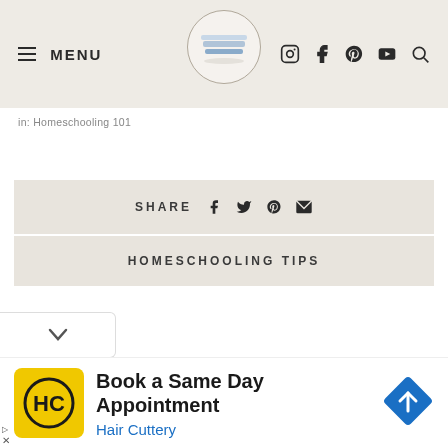MENU | [logo] | [social icons]
in: Homeschooling 101
SHARE [facebook] [twitter] [pinterest] [email]
HOMESCHOOLING TIPS
[Figure (screenshot): Advertisement for Hair Cuttery: 'Book a Same Day Appointment' with Hair Cuttery logo and blue navigation arrow icon]